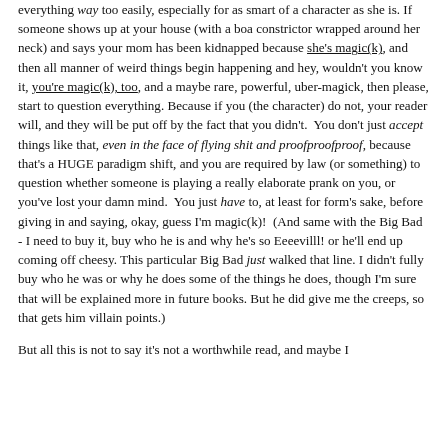everything way too easily, especially for as smart of a character as she is. If someone shows up at your house (with a boa constrictor wrapped around her neck) and says your mom has been kidnapped because she's magic(k), and then all manner of weird things begin happening and hey, wouldn't you know it, you're magic(k), too, and a maybe rare, powerful, uber-magick, then please, start to question everything. Because if you (the character) do not, your reader will, and they will be put off by the fact that you didn't.  You don't just accept things like that, even in the face of flying shit and proofproofproof, because that's a HUGE paradigm shift, and you are required by law (or something) to question whether someone is playing a really elaborate prank on you, or you've lost your damn mind.  You just have to, at least for form's sake, before giving in and saying, okay, guess I'm magic(k)!  (And same with the Big Bad - I need to buy it, buy who he is and why he's so Eeeevilll! or he'll end up coming off cheesy. This particular Big Bad just walked that line. I didn't fully buy who he was or why he does some of the things he does, though I'm sure that will be explained more in future books. But he did give me the creeps, so that gets him villain points.)

But all this is not to say it's not a worthwhile read, and maybe I should be more forgiving of...